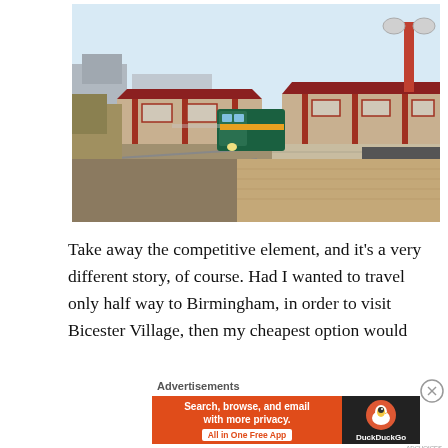[Figure (photo): A train (blue/green livery) arriving at a traditional brick railway station with red-roofed platform canopies, lamp posts, and track visible on a sunny day.]
Take away the competitive element, and it's a very different story, of course. Had I wanted to travel only half way to Birmingham, in order to visit Bicester Village, then my cheapest option would
Advertisements
[Figure (screenshot): DuckDuckGo advertisement banner: orange background with text 'Search, browse, and email with more privacy. All in One Free App' and DuckDuckGo logo on dark right panel.]